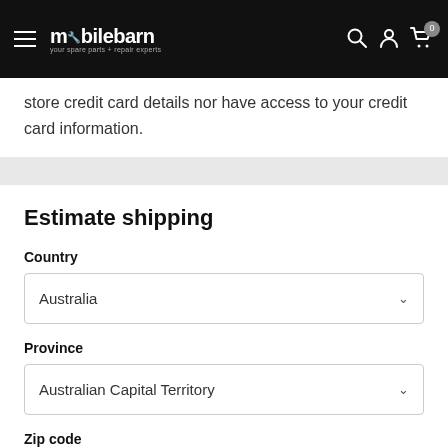mobilebarn - your spare parts + repair experts
store credit card details nor have access to your credit card information.
Estimate shipping
Country
Australia
Province
Australian Capital Territory
Zip code